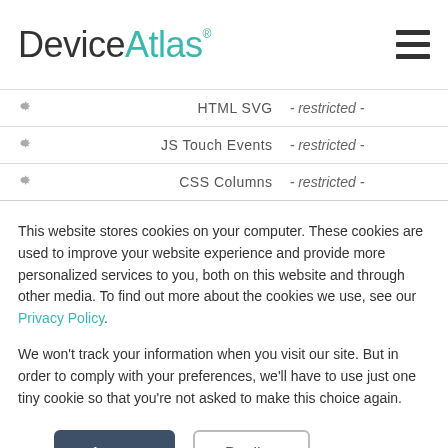DeviceAtlas
|  | Feature | Status |
| --- | --- | --- |
| ⚙ | HTML SVG | - restricted - |
| ⚙ | JS Touch Events | - restricted - |
| ⚙ | CSS Columns | - restricted - |
| ⚙ | JS Application Cache | - restricted - |
This website stores cookies on your computer. These cookies are used to improve your website experience and provide more personalized services to you, both on this website and through other media. To find out more about the cookies we use, see our Privacy Policy.
We won't track your information when you visit our site. But in order to comply with your preferences, we'll have to use just one tiny cookie so that you're not asked to make this choice again.